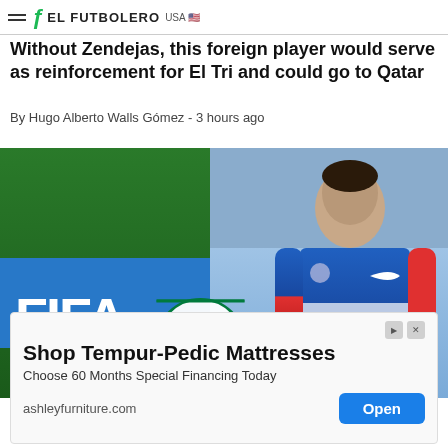EL FUTBOLERO USA
Without Zendejas, this foreign player would serve as reinforcement for El Tri and could go to Qatar
By Hugo Alberto Walls Gómez - 3 hours ago
[Figure (photo): Composite photo showing a FIFA banner on the left and a player in a USA jersey number 20 on the right, with the Mexico national team crest overlaid in the center]
Shop Tempur-Pedic Mattresses
Choose 60 Months Special Financing Today
ashleyfurniture.com
Open